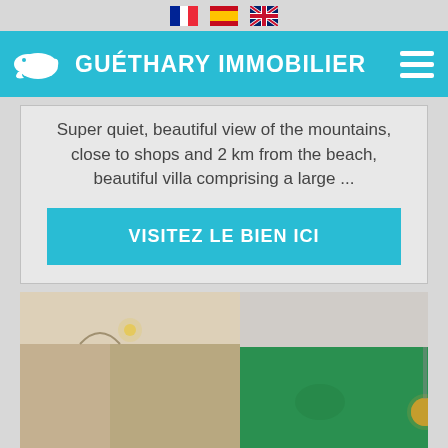🇫🇷 🇪🇸 🇬🇧
[Figure (logo): Guéthary Immobilier navigation bar with whale logo, brand name, and hamburger menu]
Super quiet, beautiful view of the mountains, close to shops and 2 km from the beach, beautiful villa comprising a large ...
VISITEZ LE BIEN ICI
[Figure (photo): Interior photo of a property showing a hallway/living area on the left and a green wall with pendant light on the right]